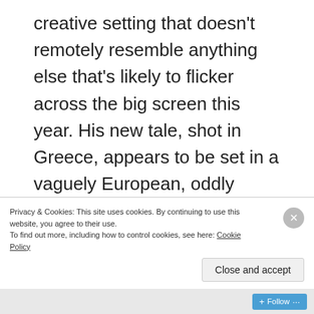creative setting that doesn't remotely resemble anything else that's likely to flicker across the big screen this year. His new tale, shot in Greece, appears to be set in a vaguely European, oddly underpopulated seaside village, with winding cobblestone streets and ancient buildings, the exteriors of which are defaced with graffiti. Everything in this vacuum-sealed universe is grey and dark, and vast warehouse-size spaces and cramped offices alike look as if they're located in some isolated, mostly forgotten Eastern Bloc burg.
Privacy & Cookies: This site uses cookies. By continuing to use this website, you agree to their use.
To find out more, including how to control cookies, see here: Cookie Policy